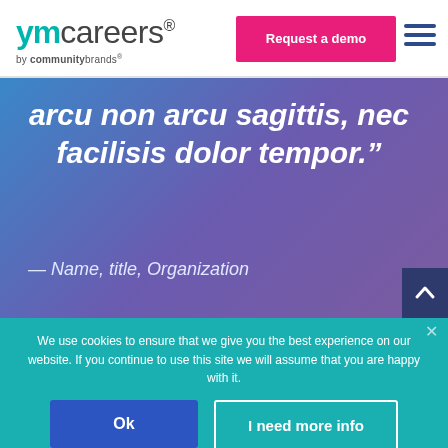[Figure (logo): ymcareers by communitybrands logo]
Request a demo
arcu non arcu sagittis, nec facilisis dolor tempor.”
— Name, title, Organization
We use cookies to ensure that we give you the best experience on our website. If you continue to use this site we will assume that you are happy with it.
Ok
I need more info